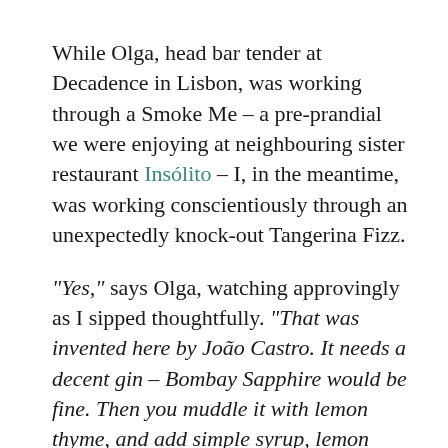While Olga, head bar tender at Decadence in Lisbon, was working through a Smoke Me – a pre-prandial we were enjoying at neighbouring sister restaurant Insólito – I, in the meantime, was working conscientiously through an unexpectedly knock-out Tangerina Fizz.
"Yes," says Olga, watching approvingly as I sipped thoughtfully. "That was invented here by João Castro. It needs a decent gin – Bombay Sapphire would be fine. Then you muddle it with lemon thyme, and add simple syrup, lemon juice and egg white. The final ingredient is Martini Bitter." I raise my eyebrow, questioning. "That's a fancier version of Campari" Olga explains.